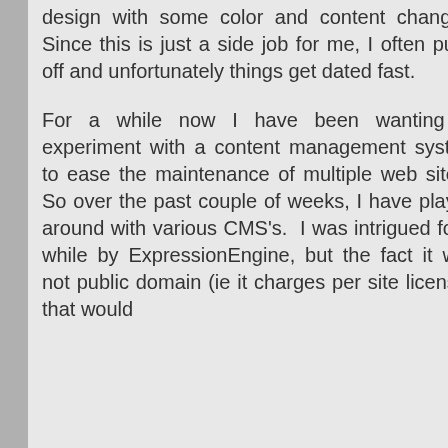design with some color and content changes. Since this is just a side job for me, I often put it off and unfortunately things get dated fast.
For a while now I have been wanting to experiment with a content management system to ease the maintenance of multiple web sites.  So over the past couple of weeks, I have played around with various CMS's.  I was intrigued for a while by ExpressionEngine, but the fact it was not public domain (ie it charges per site licenses that would